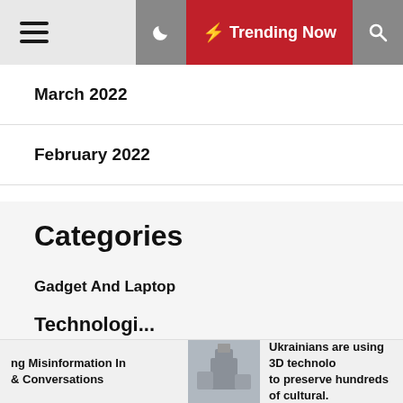Trending Now
March 2022
February 2022
Categories
Gadget And Laptop
Internet Marketing
SEO
Technology (partial)
ng Misinformation In & Conversations | Ukrainians are using 3D technolo to preserve hundreds of cultural.